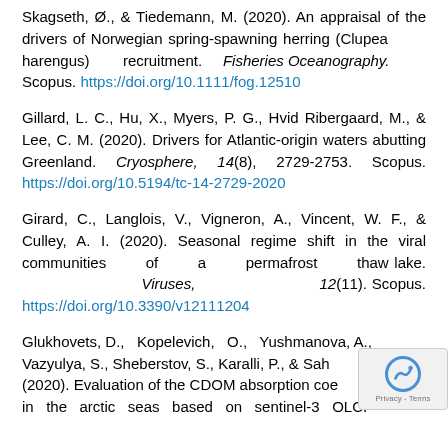Skagseth, Ø., & Tiedemann, M. (2020). An appraisal of the drivers of Norwegian spring-spawning herring (Clupea harengus) recruitment. Fisheries Oceanography. Scopus. https://doi.org/10.1111/fog.12510
Gillard, L. C., Hu, X., Myers, P. G., Hvid Ribergaard, M., & Lee, C. M. (2020). Drivers for Atlantic-origin waters abutting Greenland. Cryosphere, 14(8), 2729-2753. Scopus. https://doi.org/10.5194/tc-14-2729-2020
Girard, C., Langlois, V., Vigneron, A., Vincent, W. F., & Culley, A. I. (2020). Seasonal regime shift in the viral communities of a permafrost thaw lake. Viruses, 12(11). Scopus. https://doi.org/10.3390/v12111204
Glukhovets, D., Kopelevich, O., Yushmanova, A., Vazyulya, S., Sheberstov, S., Karalli, P., & Sah... (2020). Evaluation of the CDOM absorption coe... in the arctic seas based on sentinel-3 OLCI...